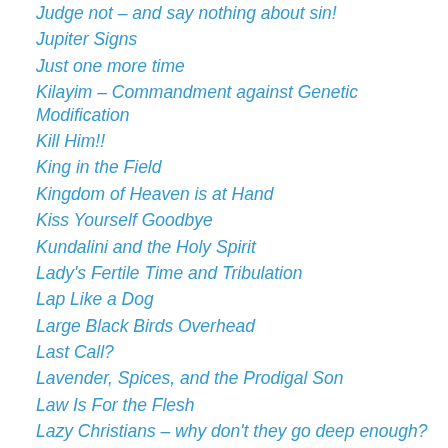Judge not – and say nothing about sin!
Jupiter Signs
Just one more time
Kilayim – Commandment against Genetic Modification
Kill Him!!
King in the Field
Kingdom of Heaven is at Hand
Kiss Yourself Goodbye
Kundalini and the Holy Spirit
Lady's Fertile Time and Tribulation
Lap Like a Dog
Large Black Birds Overhead
Last Call?
Lavender, Spices, and the Prodigal Son
Law Is For the Flesh
Lazy Christians – why don't they go deep enough?
Leah Is Part of Our Destiny
Least Ones
Lebanon and the 70 years
Legacy and Current need of the Great Yanton Sioux Tribe